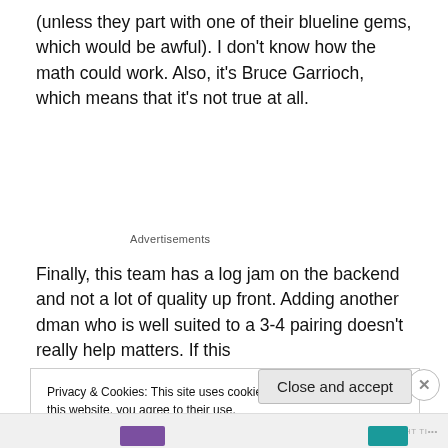(unless they part with one of their blueline gems, which would be awful). I don't know how the math could work. Also, it's Bruce Garrioch, which means that it's not true at all.
Advertisements
Finally, this team has a log jam on the backend and not a lot of quality up front. Adding another dman who is well suited to a 3-4 pairing doesn't really help matters. If this
Privacy & Cookies: This site uses cookies. By continuing to use this website, you agree to their use.
To find out more, including how to control cookies, see here: Cookie Policy
Close and accept